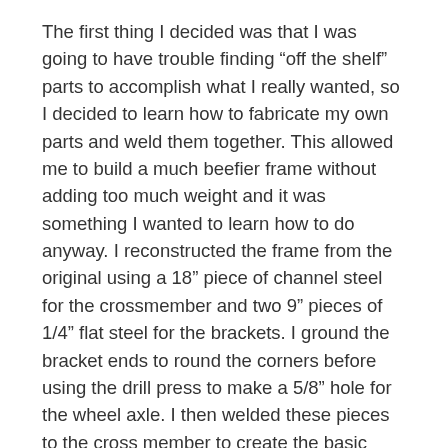The first thing I decided was that I was going to have trouble finding “off the shelf” parts to accomplish what I really wanted, so I decided to learn how to fabricate my own parts and weld them together. This allowed me to build a much beefier frame without adding too much weight and it was something I wanted to learn how to do anyway. I reconstructed the frame from the original using a 18” piece of channel steel for the crossmember and two 9” pieces of 1/4” flat steel for the brackets. I ground the bracket ends to round the corners before using the drill press to make a 5/8” hole for the wheel axle. I then welded these pieces to the cross member to create the basic frame. I then cut two more 9” pieces of the 1/4” flat steel and drilled two 1/4” holes in each end. I welded the pieces to the top of the crossmember to mount the boat supports to. I liked using the 18” 2X2 wood pieces for the top runners from the original design so I stuck with that using 1/4” lag bolts to mount them